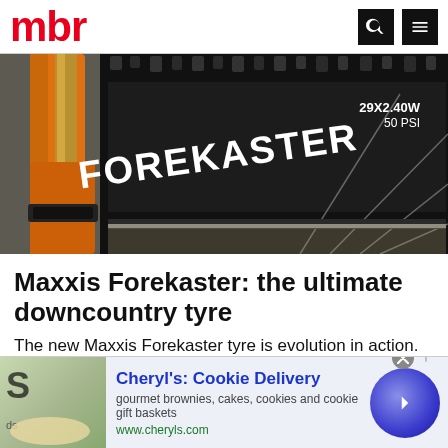mbr
[Figure (photo): Close-up photo of a Maxxis Forekaster mountain bike tyre mounted on a wheel with an orange fork visible. The tyre sidewall reads 'FOREKASTER' with size markings 29x2.40W 50 PSI.]
Maxxis Forekaster: the ultimate downcountry tyre
The new Maxxis Forekaster tyre is evolution in action. Built for aggressive XC and downcountry riding in loose or we…
MBR
Cheryl's: Cookie Delivery
gourmet brownies, cakes, cookies and cookie gift baskets
www.cheryls.com